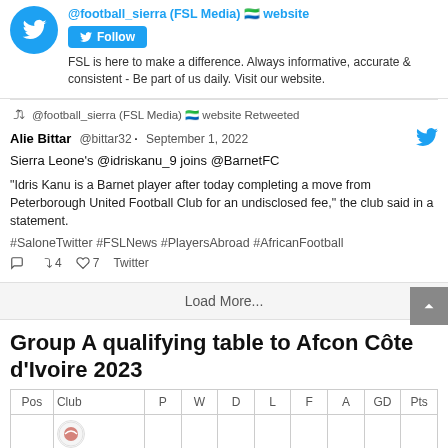@football_sierra (FSL Media) website
FSL is here to make a difference. Always informative, accurate & consistent - Be part of us daily. Visit our website.
@football_sierra (FSL Media) website Retweeted
Alie Bittar @bittar32 · September 1, 2022
Sierra Leone's @idriskanu_9 joins @BarnetFC
"Idris Kanu is a Barnet player after today completing a move from Peterborough United Football Club for an undisclosed fee," the club said in a statement.
#SaloneTwitter #FSLNews #PlayersAbroad #AfricanFootball
4  7  Twitter
Load More...
Group A qualifying table to Afcon Côte d'Ivoire 2023
| Pos | Club | P | W | D | L | F | A | GD | Pts |
| --- | --- | --- | --- | --- | --- | --- | --- | --- | --- |
|  |